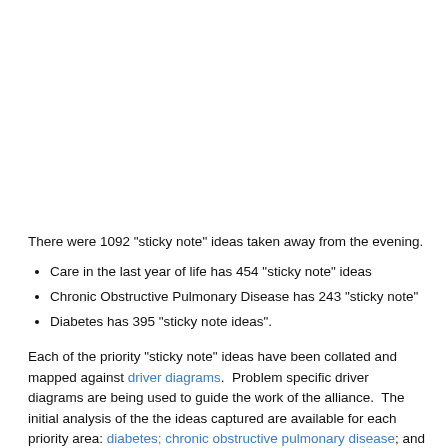There were 1092 "sticky note" ideas taken away from the evening.
Care in the last year of life has 454 "sticky note" ideas
Chronic Obstructive Pulmonary Disease has 243 "sticky note"
Diabetes has 395 "sticky note ideas".
Each of the priority "sticky note" ideas have been collated and mapped against driver diagrams. Problem specific driver diagrams are being used to guide the work of the alliance. The initial analysis of the the ideas captured are available for each priority area: diabetes; chronic obstructive pulmonary disease; and care in the last year of life. These documents are